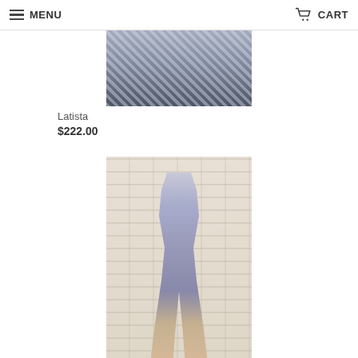MENU  CART
[Figure (photo): A person wearing a blue and white patterned top, photographed from the waist up against an outdoor background with brick/stone ground]
Latista
$222.00
[Figure (photo): A woman wearing a silver/grey sparkly two-piece outfit consisting of a long-sleeve crop top with a keyhole cutout and a mini skirt, posing in front of a white brick wall]